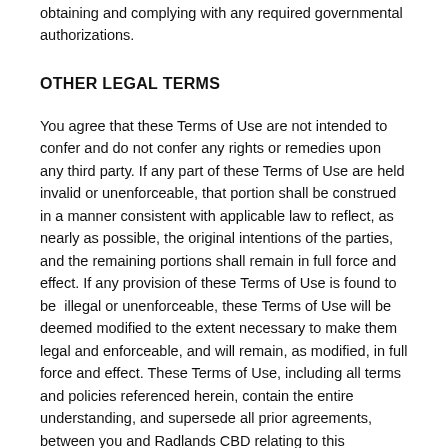obtaining and complying with any required governmental authorizations.
OTHER LEGAL TERMS
You agree that these Terms of Use are not intended to confer and do not confer any rights or remedies upon any third party. If any part of these Terms of Use are held invalid or unenforceable, that portion shall be construed in a manner consistent with applicable law to reflect, as nearly as possible, the original intentions of the parties, and the remaining portions shall remain in full force and effect. If any provision of these Terms of Use is found to be illegal or unenforceable, these Terms of Use will be deemed modified to the extent necessary to make them legal and enforceable, and will remain, as modified, in full force and effect. These Terms of Use, including all terms and policies referenced herein, contain the entire understanding, and supersede all prior agreements, between you and Radlands CBD relating to this